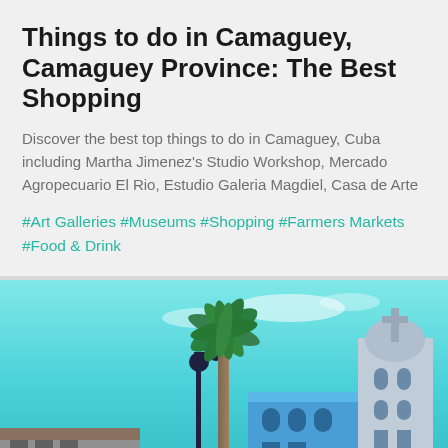Things to do in Camaguey, Camaguey Province: The Best Shopping
Discover the best top things to do in Camaguey, Cuba including Martha Jimenez's Studio Workshop, Mercado Agropecuario El Rio, Estudio Galeria Magdiel, Casa de Arte
#Art Galleries #Museums #Shopping #Farmers Markets #Food & Drink
[Figure (photo): Street view of Camaguey, Cuba with a tall palm tree in the center, a colonial church tower on the right, colorful buildings, and a bright turquoise sky]